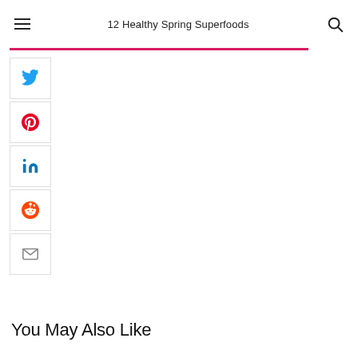12 Healthy Spring Superfoods
[Figure (infographic): Social sharing sidebar with Twitter, Pinterest, LinkedIn, Reddit, and Email icons in bordered square buttons]
You May Also Like